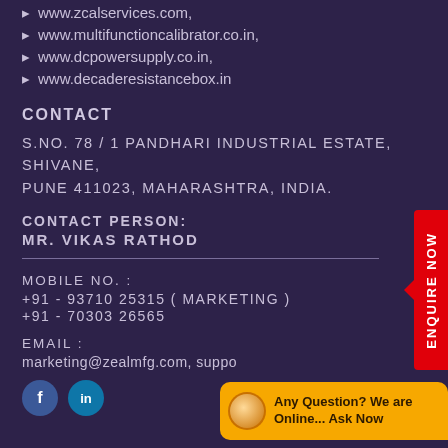www.zcalservices.com,
www.multifunctioncalibrator.co.in,
www.dcpowersupply.co.in,
www.decaderesistancebox.in
CONTACT
S.NO. 78 / 1 PANDHARI INDUSTRIAL ESTATE, SHIVANE, PUNE 411023, MAHARASHTRA, INDIA.
CONTACT PERSON:
MR. VIKAS RATHOD
MOBILE NO. :
+91 - 93710 25315 ( MARKETING )
+91 - 70303 26565
EMAIL :
marketing@zealmfg.com, suppo
[Figure (other): Social media icons: Facebook and LinkedIn]